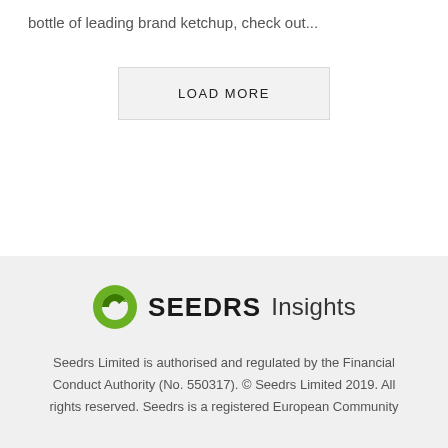bottle of leading brand ketchup, check out...
LOAD MORE
[Figure (logo): Seedrs Insights logo with green circular icon, bold SEEDRS wordmark and Insights text]
Seedrs Limited is authorised and regulated by the Financial Conduct Authority (No. 550317). © Seedrs Limited 2019. All rights reserved. Seedrs is a registered European Community